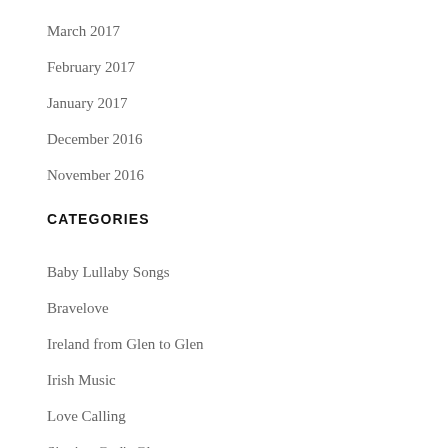March 2017
February 2017
January 2017
December 2016
November 2016
CATEGORIES
Baby Lullaby Songs
Bravelove
Ireland from Glen to Glen
Irish Music
Love Calling
Singing God's Glory
St. Patrick's D…